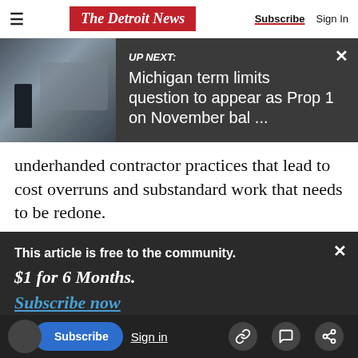The Detroit News | Subscribe | Sign In
[Figure (screenshot): UP NEXT banner with image of a meeting room and headline: Michigan term limits question to appear as Prop 1 on November bal ...]
underhanded contractor practices that lead to cost overruns and substandard work that needs to be redone.
"It is unclear to me why, during a construction
This article is free to the community. $1 for 6 Months. Subscribe now
and retain quality workers who can fill the large
Subscribe | Sign in